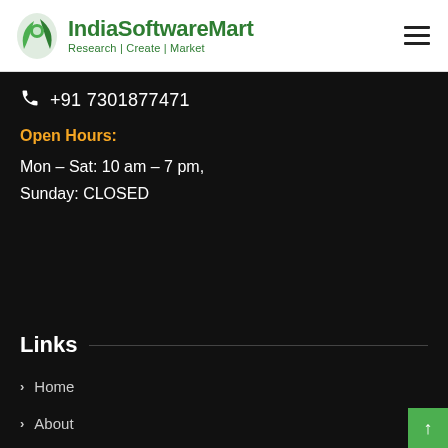IndiaSoftwareMart — Research | Create | Market
+91 7301877471
Open Hours:
Mon – Sat: 10 am – 7 pm, Sunday: CLOSED
Links
Home
About
Services